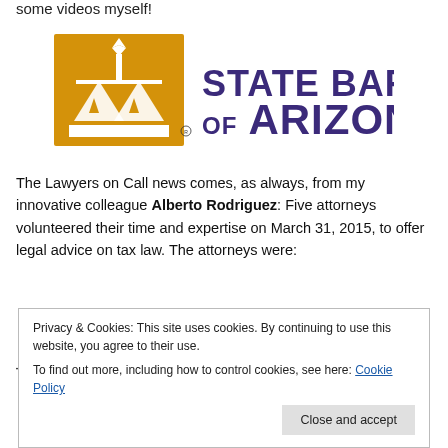some videos myself!
[Figure (logo): State Bar of Arizona logo — gold scales of justice with triangular pine tree motifs, purple text reading STATE BAR OF ARIZONA]
The Lawyers on Call news comes, as always, from my innovative colleague Alberto Rodriguez: Five attorneys volunteered their time and expertise on March 31, 2015, to offer legal advice on tax law. The attorneys were:
Tracy Essig, Essig Law
Privacy & Cookies: This site uses cookies. By continuing to use this website, you agree to their use. To find out more, including how to control cookies, see here: Cookie Policy